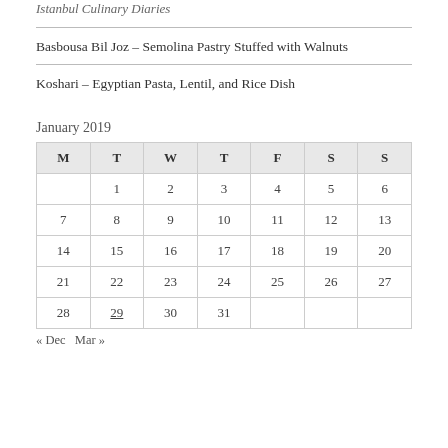Istanbul Culinary Diaries
Basbousa Bil Joz – Semolina Pastry Stuffed with Walnuts
Koshari – Egyptian Pasta, Lentil, and Rice Dish
January 2019
| M | T | W | T | F | S | S |
| --- | --- | --- | --- | --- | --- | --- |
|  | 1 | 2 | 3 | 4 | 5 | 6 |
| 7 | 8 | 9 | 10 | 11 | 12 | 13 |
| 14 | 15 | 16 | 17 | 18 | 19 | 20 |
| 21 | 22 | 23 | 24 | 25 | 26 | 27 |
| 28 | 29 | 30 | 31 |  |  |  |
« Dec   Mar »